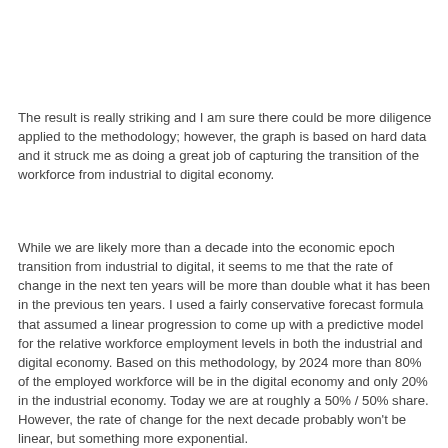The result is really striking and I am sure there could be more diligence applied to the methodology; however, the graph is based on hard data and it struck me as doing a great job of capturing the transition of the workforce from industrial to digital economy.
While we are likely more than a decade into the economic epoch transition from industrial to digital, it seems to me that the rate of change in the next ten years will be more than double what it has been in the previous ten years. I used a fairly conservative forecast formula that assumed a linear progression to come up with a predictive model for the relative workforce employment levels in both the industrial and digital economy. Based on this methodology, by 2024 more than 80% of the employed workforce will be in the digital economy and only 20% in the industrial economy. Today we are at roughly a 50% / 50% share. However, the rate of change for the next decade probably won't be linear, but something more exponential.